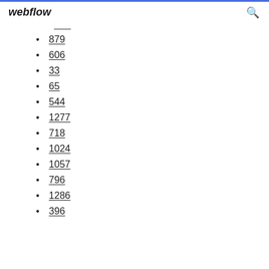webflow
879
606
33
65
544
1277
718
1024
1057
796
1286
396